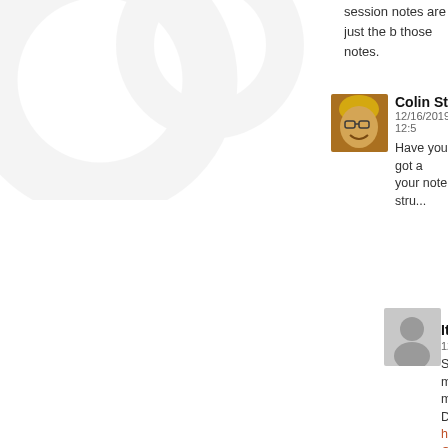session notes are just the b... those notes.
Colin Strickk...
12/16/2019, 12:5...
Have you got a... your note stru...
It's_A_Tr...
12/17/2019,
Sure! I've ... minor con... makes so... Dungeon d... https://doc... GCmgJ0M... Homebrew... https://doc...
It's_A...
12/17/2...
Wait, ... Modu... GCmg... usp=s... Home... https:... usp=s...